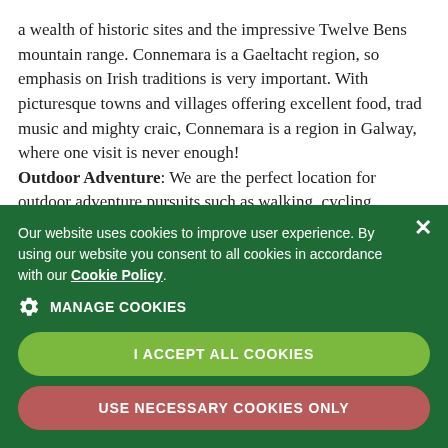a wealth of historic sites and the impressive Twelve Bens mountain range. Connemara is a Gaeltacht region, so emphasis on Irish traditions is very important. With picturesque towns and villages offering excellent food, trad music and mighty craic, Connemara is a region in Galway, where one visit is never enough! Outdoor Adventure: We are the perfect location for outdoor adventure pursuits such as walking, cycling, golfing, horse riding and angling to name a few, swimming, surfing, sailing, paddle boarding, kayaking, wind surfing and abseiling. The Burren: The Burren is one of Ireland's most fascinating landscapes...
Our website uses cookies to improve user experience. By using our website you consent to all cookies in accordance with our Cookie Policy.
MANAGE COOKIES
I ACCEPT ALL COOKIES
USE NECESSARY COOKIES ONLY